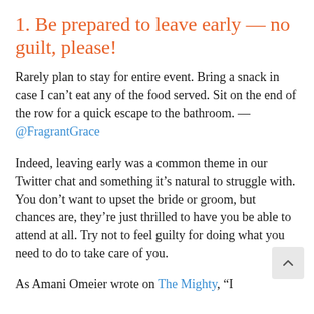1. Be prepared to leave early — no guilt, please!
Rarely plan to stay for entire event. Bring a snack in case I can't eat any of the food served. Sit on the end of the row for a quick escape to the bathroom. — @FragrantGrace
Indeed, leaving early was a common theme in our Twitter chat and something it's natural to struggle with. You don't want to upset the bride or groom, but chances are, they're just thrilled to have you be able to attend at all. Try not to feel guilty for doing what you need to do to take care of you.
As Amani Omeier wrote on The Mighty, "I